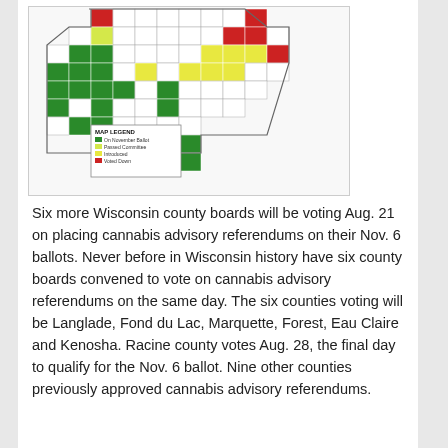[Figure (map): Map of Wisconsin counties color-coded by cannabis advisory referendum status. Map Legend: On November Ballot (green), Passed Committee (light green/yellow-green), Introduced (yellow), Voted Down (red). Many counties are shown in green, some in yellow, some in red, and some in white (no action).]
Six more Wisconsin county boards will be voting Aug. 21 on placing cannabis advisory referendums on their Nov. 6 ballots. Never before in Wisconsin history have six county boards convened to vote on cannabis advisory referendums on the same day. The six counties voting will be Langlade, Fond du Lac, Marquette, Forest, Eau Claire and Kenosha. Racine county votes Aug. 28, the final day to qualify for the Nov. 6 ballot. Nine other counties previously approved cannabis advisory referendums.